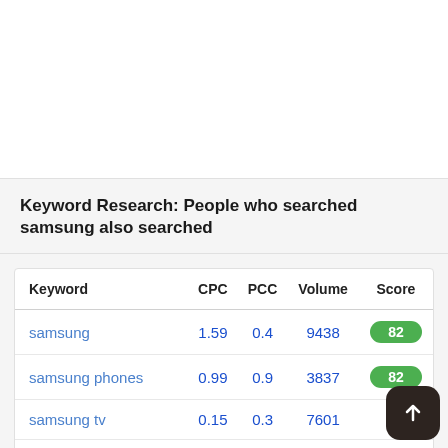Keyword Research: People who searched samsung also searched
| Keyword | CPC | PCC | Volume | Score |
| --- | --- | --- | --- | --- |
| samsung | 1.59 | 0.4 | 9438 | 82 |
| samsung phones | 0.99 | 0.9 | 3837 | 82 |
| samsung tv | 0.15 | 0.3 | 7601 |  |
| samsung galaxy s22 | 0.07 | 0.5 | 2245 | 28 |